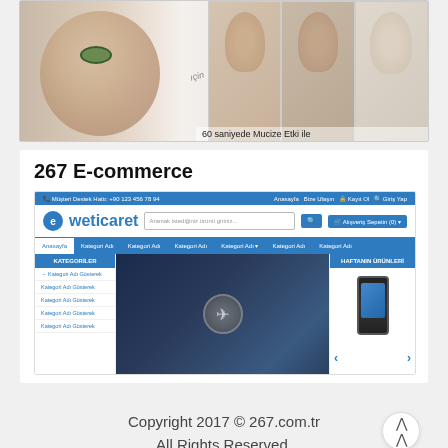[Figure (screenshot): Banner image of a woman's face with skin treatment imagery and small portrait photos on the right, with Turkish text overlay at bottom right]
267 E-commerce
[Figure (screenshot): Screenshot of weticaret e-commerce website template showing navigation bar in Turkish, category sidebar, main banner image with compass, and product section with phone image]
Copyright 2017 © 267.com.tr
All Rights Reserved.